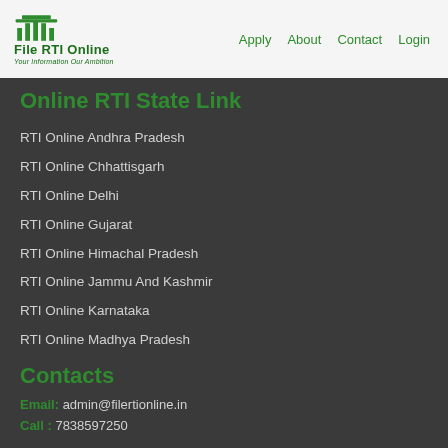File RTI Online — Your Information Our Ambition | Apply  About  Contact  Login
Online RTI State Link
RTI Online Andhra Pradesh
RTI Online Chhattisgarh
RTI Online Delhi
RTI Online Gujarat
RTI Online Himachal Pradesh
RTI Online Jammu And Kashmir
RTI Online Karnataka
RTI Online Madhya Pradesh
Contacts
Email: admin@filertionline.in
Call : 7838597250